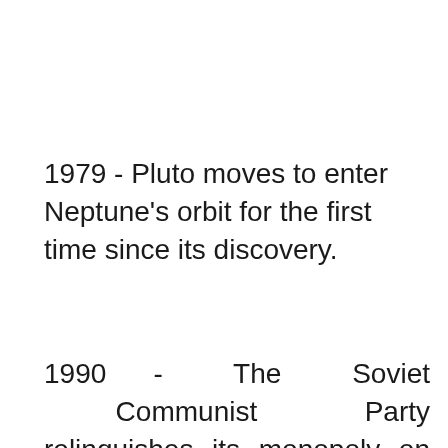1979 - Pluto moves to enter Neptune's orbit for the first time since its discovery.
1990 - The Soviet Communist Party relinquishes its monopoly on power after 72